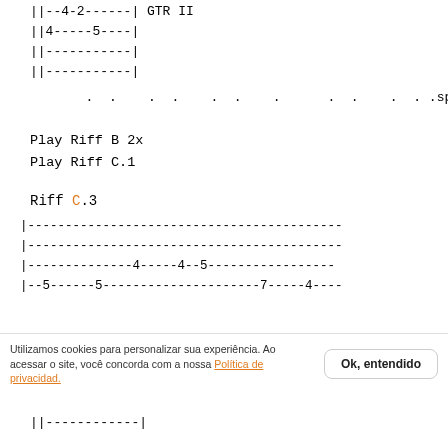||--4-2------| GTR II
||4-----5----|
||------------|
||------------|
.  .    .  .    .  .    .      .  .    .  . .spm
Play Riff B 2x
Play Riff C.1
Riff C.3
|-------------------------------------------
|-------------------------------------------
|--------------4-----4--5------------------
|--5------5---------------------7-----4------
Utilizamos cookies para personalizar sua experiência. Ao acessar o site, você concorda com a nossa Política de privacidad.
||------------|